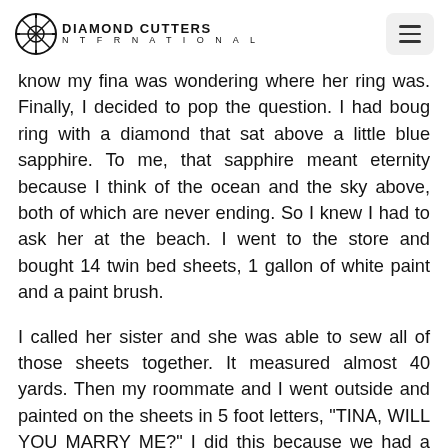DIAMOND CUTTERS
know my fina was wondering where her ring was. Finally, I decided to pop the question. I had bought a ring with a diamond that sat above a little blue sapphire. To me, that sapphire meant eternity because I think of the ocean and the sky above, both of which are never ending. So I knew I had to ask her at the beach. I went to the store and bought 14 twin bed sheets, 1 gallon of white paint and a paint brush.
I called her sister and she was able to sew all of those sheets together. It measured almost 40 yards. Then my roommate and I went outside and painted on the sheets in 5 foot letters, "TINA, WILL YOU MARRY ME?" I did this because we had a reservation at a hotel right on Wrightsville Beach, NC and I made sure we got the 9th floor with a balcony and I needed letters big enough for her to see. The manager said he could help me set it up on Sunday morning while she was in the shower. Now everything was in place, I just